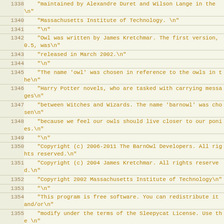| line | code |
| --- | --- |
| 1338 |     "maintained by Alexandre Duret and Wilson Lange in the\n" |
| 1340 |     "Massachusetts Institute of Technology. \n" |
| 1341 |     "\n" |
| 1342 |     "Owl was written by James Kretchmar. The first version, 0.5, was\n" |
| 1343 |     "released in March 2002.\n" |
| 1344 |     "\n" |
| 1345 |     "The name 'owl' was chosen in reference to the owls in the\n" |
| 1346 |     "Harry Potter novels, who are tasked with carrying messages\n" |
| 1347 |     "between Witches and Wizards. The name 'barnowl' was chosen\n" |
| 1348 |     "because we feel our owls should live closer to our ponies.\n" |
| 1349 |     "\n" |
| 1350 |     "Copyright (c) 2006-2011 The BarnOwl Developers. All rights reserved.\n" |
| 1351 |     "Copyright (c) 2004 James Kretchmar. All rights reserved.\n" |
| 1352 |     "Copyright 2002 Massachusetts Institute of Technology\n" |
| 1353 |     "\n" |
| 1354 |     "This program is free software. You can redistribute it and/or\n" |
| 1355 |     "modify under the terms of the Sleepycat License. Use the \n" |
| 1356 |     "':show license' command to display the full license\n" |
| 1357 |     ); |
| 1358 | } |
| 1359 |  |
| 1360 | void owl_function_info(void) |
| 1361 | { |